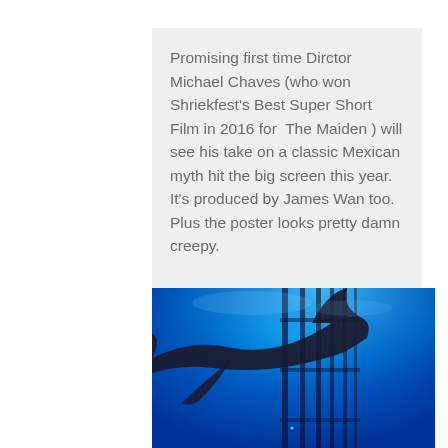Promising first time Dirctor Michael Chaves (who won Shriekfest's Best Super Short Film in 2016 for  The Maiden ) will see his take on a classic Mexican myth hit the big screen this year. It's produced by James Wan too. Plus the poster looks pretty damn creepy.
[Figure (photo): Underwater photo showing a large shark silhouette against bright blue water, viewed from below near what appears to be a cage or structure.]